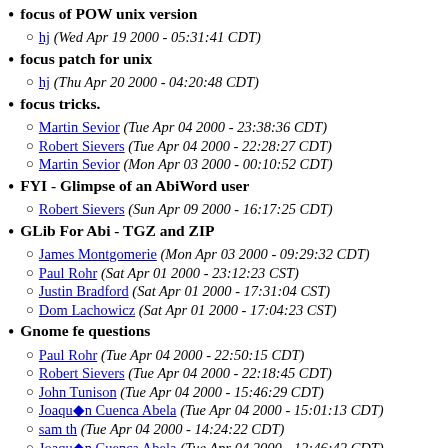focus of POW unix version
hj (Wed Apr 19 2000 - 05:31:41 CDT)
focus patch for unix
hj (Thu Apr 20 2000 - 04:20:48 CDT)
focus tricks.
Martin Sevior (Tue Apr 04 2000 - 23:38:36 CDT)
Robert Sievers (Tue Apr 04 2000 - 22:28:27 CDT)
Martin Sevior (Mon Apr 03 2000 - 00:10:52 CDT)
FYI - Glimpse of an AbiWord user
Robert Sievers (Sun Apr 09 2000 - 16:17:25 CDT)
GLib For Abi - TGZ and ZIP
James Montgomerie (Mon Apr 03 2000 - 09:29:32 CDT)
Paul Rohr (Sat Apr 01 2000 - 23:12:23 CST)
Justin Bradford (Sat Apr 01 2000 - 17:31:04 CST)
Dom Lachowicz (Sat Apr 01 2000 - 17:04:23 CST)
Gnome fe questions
Paul Rohr (Tue Apr 04 2000 - 22:50:15 CDT)
Robert Sievers (Tue Apr 04 2000 - 22:18:45 CDT)
John Tunison (Tue Apr 04 2000 - 15:46:29 CDT)
Joaquín Cuenca Abela (Tue Apr 04 2000 - 15:01:13 CDT)
sam th (Tue Apr 04 2000 - 14:24:22 CDT)
Joaquín Cuenca Abela (Tue Apr 04 2000 - 12:46:42 CDT)
Martin Sevior (Tue Apr 04 2000 - 03:10:47 CDT)